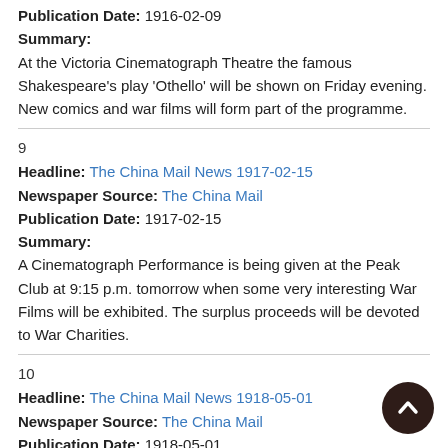Publication Date: 1916-02-09
Summary:
At the Victoria Cinematograph Theatre the famous Shakespeare's play 'Othello' will be shown on Friday evening. New comics and war films will form part of the programme.
9
Headline: The China Mail News 1917-02-15
Newspaper Source: The China Mail
Publication Date: 1917-02-15
Summary:
A Cinematograph Performance is being given at the Peak Club at 9:15 p.m. tomorrow when some very interesting War Films will be exhibited. The surplus proceeds will be devoted to War Charities.
10
Headline: The China Mail News 1918-05-01
Newspaper Source: The China Mail
Publication Date: 1918-05-01
Summary: